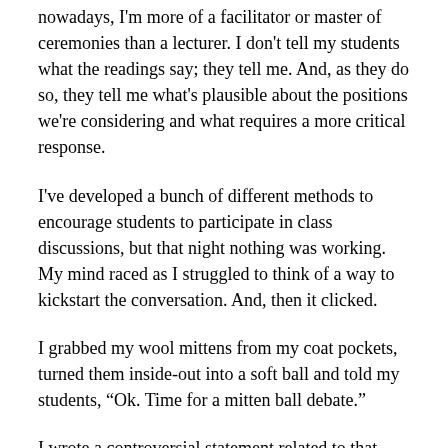nowadays, I'm more of a facilitator or master of ceremonies than a lecturer. I don't tell my students what the readings say; they tell me. And, as they do so, they tell me what's plausible about the positions we're considering and what requires a more critical response.
I've developed a bunch of different methods to encourage students to participate in class discussions, but that night nothing was working. My mind raced as I struggled to think of a way to kickstart the conversation. And, then it clicked.
I grabbed my wool mittens from my coat pockets, turned them inside-out into a soft ball and told my students, “Ok. Time for a mitten ball debate.”
I wrote a controversial statement related to that evening’s material on the board. Then, I…